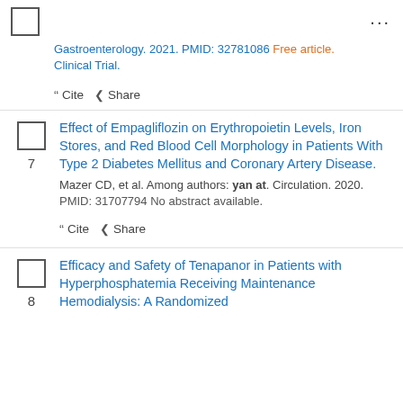...
Gastroenterology. 2021. PMID: 32781086 Free article. Clinical Trial.
Cite  Share
7  Effect of Empagliflozin on Erythropoietin Levels, Iron Stores, and Red Blood Cell Morphology in Patients With Type 2 Diabetes Mellitus and Coronary Artery Disease.
Mazer CD, et al. Among authors: yan at. Circulation. 2020. PMID: 31707794 No abstract available.
Cite  Share
8  Efficacy and Safety of Tenapanor in Patients with Hyperphosphatemia Receiving Maintenance Hemodialysis: A Randomized